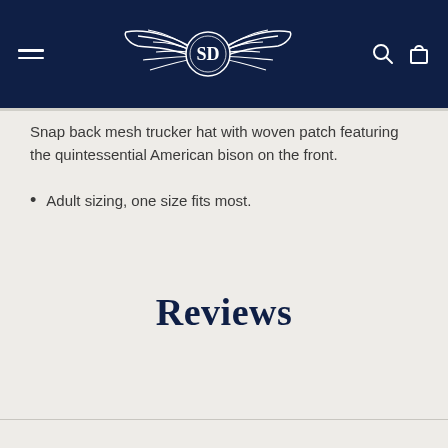Navigation bar with hamburger menu, SD winged logo, search and cart icons
Snap back mesh trucker hat with woven patch featuring the quintessential American bison on the front.
Adult sizing, one size fits most.
Reviews